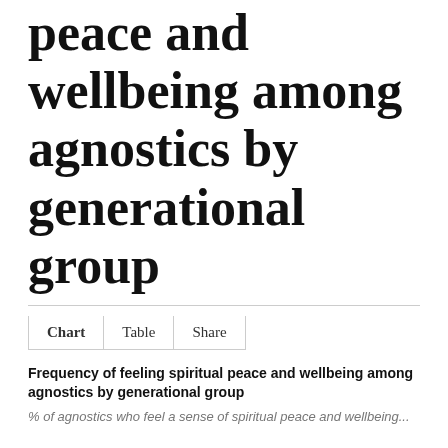peace and wellbeing among agnostics by generational group
Chart   Table   Share
Frequency of feeling spiritual peace and wellbeing among agnostics by generational group
% of agnostics who feel a sense of spiritual peace and wellbeing...